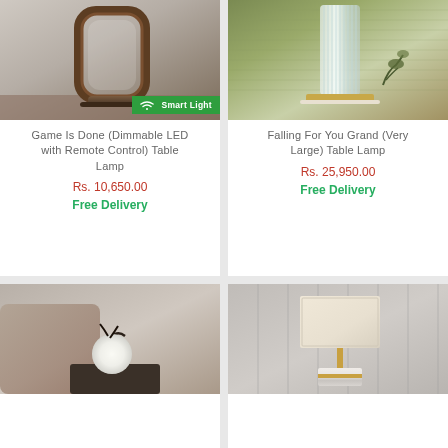[Figure (photo): Rectangular dark wood frame LED table lamp on wooden surface against grey wall, with Smart Light badge overlay]
Game Is Done (Dimmable LED with Remote Control) Table Lamp
Rs. 10,650.00
Free Delivery
[Figure (photo): Tall glass cylindrical lamp with gold base against green textured wall]
Falling For You Grand (Very Large) Table Lamp
Rs. 25,950.00
Free Delivery
[Figure (photo): Round globe white table lamp with dark branch-like base on bedside table next to upholstered headboard]
[Figure (photo): Rectangular cream lampshade on marble and gold base against grey panelled wall]